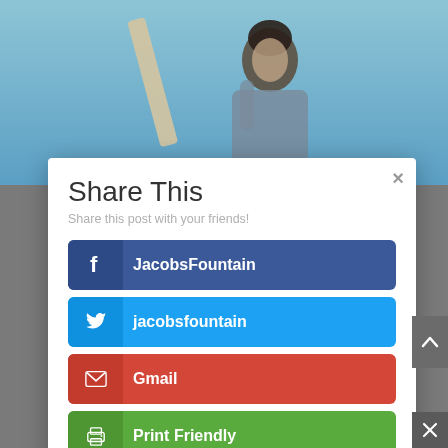[Figure (photo): Photo of a young man looking upward against a blue sky, holding a wooden board]
Share This
Share this post with your friends!
JacobsFountain (Facebook)
jacobsfountain (Twitter)
Gmail
Print Friendly
Like